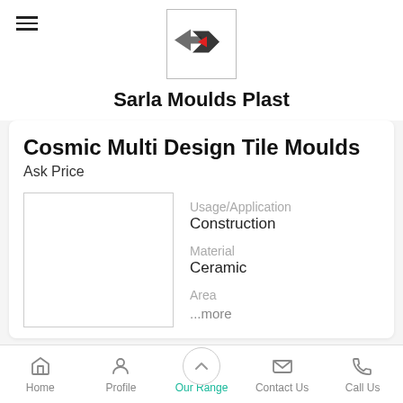[Figure (logo): Sarla Moulds Plast logo — two arrow-like shapes with a red accent]
Sarla Moulds Plast
Cosmic Multi Design Tile Moulds
Ask Price
Usage/Application
Construction
Material
Ceramic
Area
...more
Home  Profile  Our Range  Contact Us  Call Us